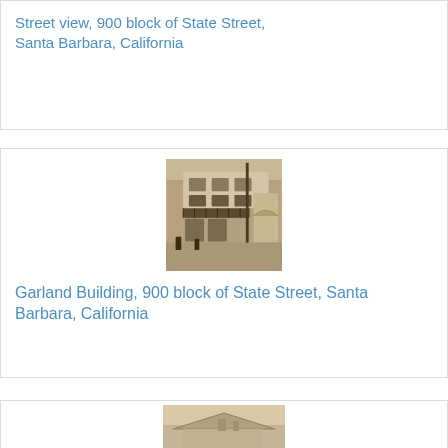Street view, 900 block of State Street, Santa Barbara, California
[Figure (photo): Sepia/black-and-white photograph of the Garland Building, a multi-story commercial building on the 900 block of State Street, Santa Barbara, California, with storefronts and awnings visible at street level.]
Garland Building, 900 block of State Street, Santa Barbara, California
[Figure (photo): Partial sepia/black-and-white photograph of a building, cropped at bottom of page, showing roof and upper facade.]